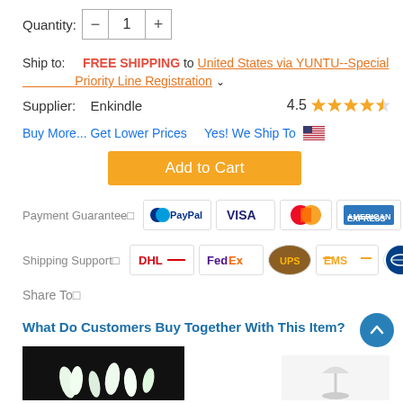Quantity: - 1 +
Ship to: FREE SHIPPING to United States via YUNTU--Special Priority Line Registration
Supplier: Enkindle  4.5 ★★★★½
Buy More... Get Lower Prices   Yes! We Ship To 🇺🇸
[Figure (other): Orange Add to Cart button]
Payment Guarantee□
[Figure (other): Payment method logos: PayPal, VISA, MasterCard, American Express, Maestro]
Shipping Support□
[Figure (other): Shipping logos: DHL, FedEx, UPS, EMS, and one more carrier]
Share To□
What Do Customers Buy Together With This Item?
[Figure (photo): Dark background with white flowers/plants]
[Figure (photo): White lamp or stand on light background]